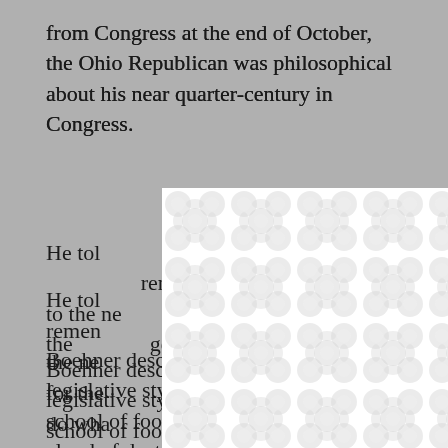from Congress at the end of October, the Ohio Republican was philosophical about his near quarter-century in Congress.
He told … remember … ce to the ne … hings for the … ge to do wha…
[Figure (other): A modal dialog box overlaying the text, with a white background filled with a repeating grey bubble/peanut pattern, and an X close button in the upper right corner.]
“It’s ea… u can’t do,” Bo…
Boehner described his incremental legislative style as “the Woody Hayes school of football: three years and a cloud of dust, three yards and a